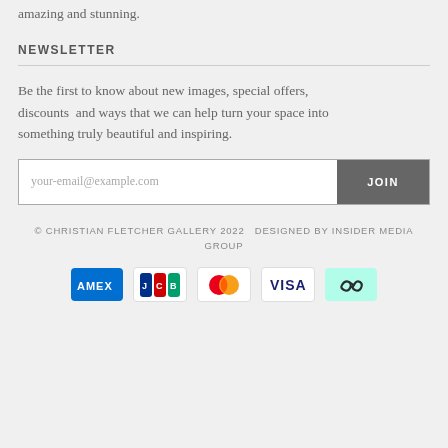amazing and stunning.
NEWSLETTER
Be the first to know about new images, special offers, discounts and ways that we can help turn your space into something truly beautiful and inspiring.
your-email@example.com  JOIN
© CHRISTIAN FLETCHER GALLERY 2022  DESIGNED BY INSIDER MEDIA GROUP
[Figure (other): Payment method icons: American Express, JCB, Mastercard, Visa, Afterpay]